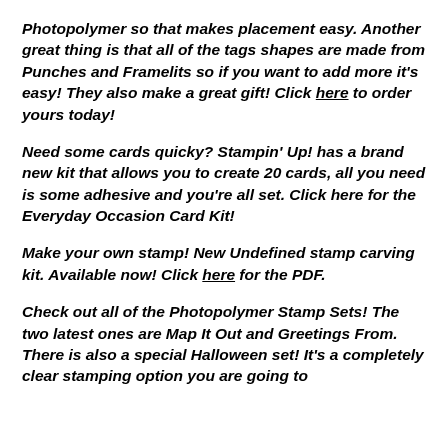Photopolymer so that makes placement easy. Another great thing is that all of the tags shapes are made from Punches and Framelits so if you want to add more it's easy! They also make a great gift! Click here to order yours today!
Need some cards quicky? Stampin' Up! has a brand new kit that allows you to create 20 cards, all you need is some adhesive and you're all set. Click here for the Everyday Occasion Card Kit!
Make your own stamp! New Undefined stamp carving kit. Available now! Click here for the PDF.
Check out all of the Photopolymer Stamp Sets! The two latest ones are Map It Out and Greetings From. There is also a special Halloween set! It's a completely clear stamping option you are going to